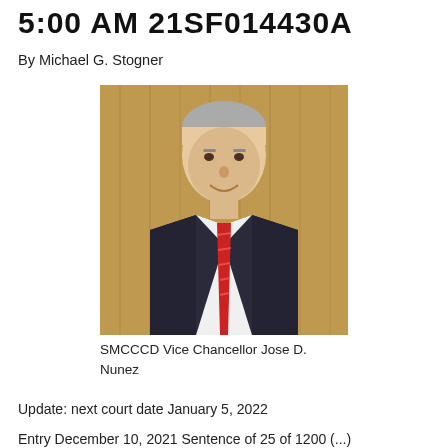5:00 AM 21SF014430A
By Michael G. Stogner
[Figure (photo): Portrait photo of SMCCCD Vice Chancellor Jose D. Nunez, a middle-aged man with gray hair, wearing a dark suit and red striped tie, standing in front of a wood-paneled background.]
SMCCCD Vice Chancellor Jose D. Nunez
Update: next court date January 5, 2022
Entry December 10, 2021 Sentence of 25 of 1200 (...)